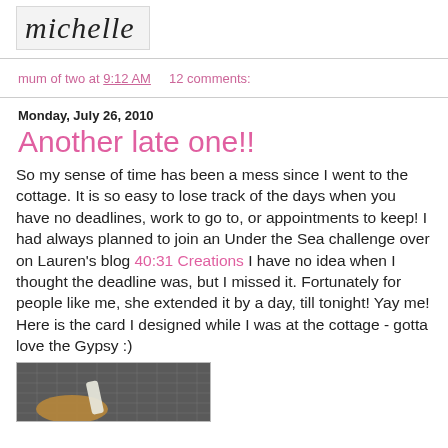[Figure (illustration): Cursive signature reading 'Michelle' in a light gray bordered box]
mum of two at 9:12 AM    12 comments:
Monday, July 26, 2010
Another late one!!
So my sense of time has been a mess since I went to the cottage. It is so easy to lose track of the days when you have no deadlines, work to go to, or appointments to keep! I had always planned to join an Under the Sea challenge over on Lauren's blog 40:31 Creations I have no idea when I thought the deadline was, but I missed it. Fortunately for people like me, she extended it by a day, till tonight! Yay me! Here is the card I designed while I was at the cottage - gotta love the Gypsy :)
[Figure (photo): Partial photo of a card crafting project on a cutting mat, showing a brown/tan card base and a white tube/marker]